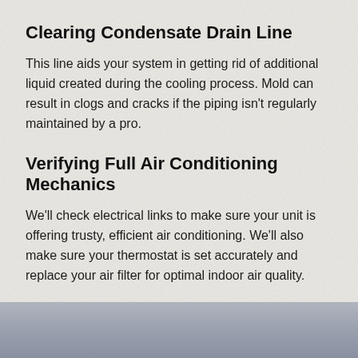Clearing Condensate Drain Line
This line aids your system in getting rid of additional liquid created during the cooling process. Mold can result in clogs and cracks if the piping isn't regularly maintained by a pro.
Verifying Full Air Conditioning Mechanics
We'll check electrical links to make sure your unit is offering trusty, efficient air conditioning. We'll also make sure your thermostat is set accurately and replace your air filter for optimal indoor air quality.